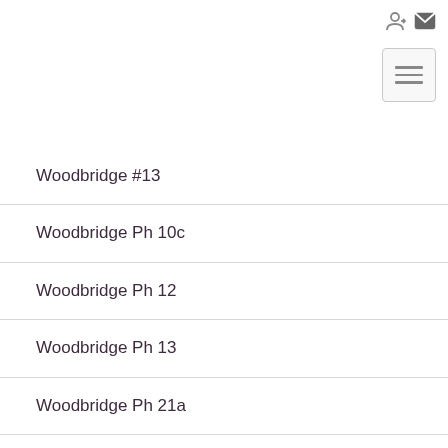login mail hamburger-menu
Woodbridge #13
Woodbridge Ph 10c
Woodbridge Ph 12
Woodbridge Ph 13
Woodbridge Ph 21a
Woodbridge Ph 9
Wooded Creek Ph 2
Wylie Lakes Ph 1b